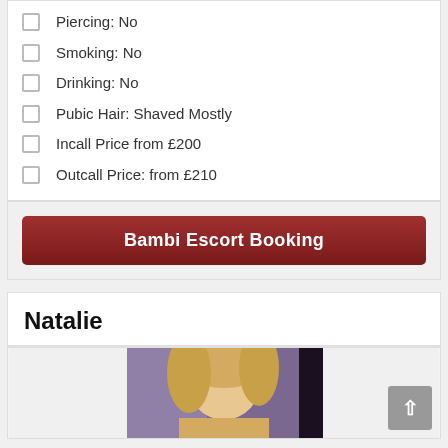Piercing: No
Smoking: No
Drinking: No
Pubic Hair: Shaved Mostly
Incall Price from £200
Outcall Price: from £210
Bambi Escort Booking
Natalie
[Figure (photo): Blonde woman photo]